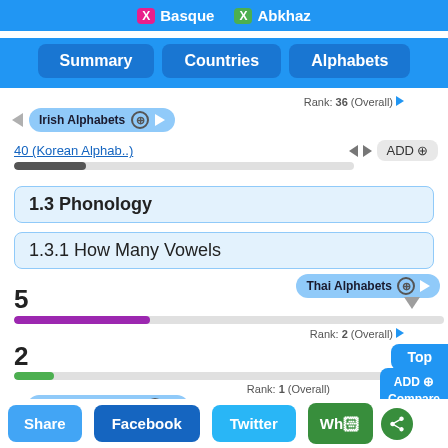Basque  Abkhaz
Summary  Countries  Alphabets
Rank: 36 (Overall)
Irish Alphabets
40 (Korean Alphab..)   ADD
1.3 Phonology
1.3.1 How Many Vowels
Thai Alphabets
5
Rank: 2 (Overall)
2
Rank: 1 (Overall)
Hebrew Alphabets
10 (German Alphab..)   ADD
Top
ADD Compare
Share  Facebook  Twitter  Wh